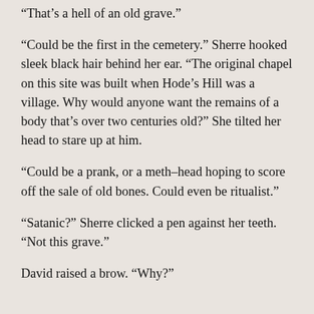“That’s a hell of an old grave.”
“Could be the first in the cemetery.” Sherre hooked sleek black hair behind her ear. “The original chapel on this site was built when Hode’s Hill was a village. Why would anyone want the remains of a body that’s over two centuries old?” She tilted her head to stare up at him.
“Could be a prank, or a meth-head hoping to score off the sale of old bones. Could even be ritualist.”
“Satanic?” Sherre clicked a pen against her teeth. “Not this grave.”
David raised a brow. “Why?”